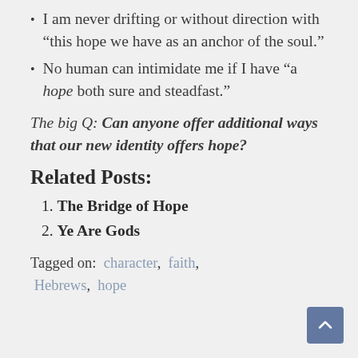I am never drifting or without direction with “this hope we have as an anchor of the soul.”
No human can intimidate me if I have “a hope both sure and steadfast.”
The big Q: Can anyone offer additional ways that our new identity offers hope?
Related Posts:
The Bridge of Hope
Ye Are Gods
Tagged on:  character,  faith,  Hebrews,  hope